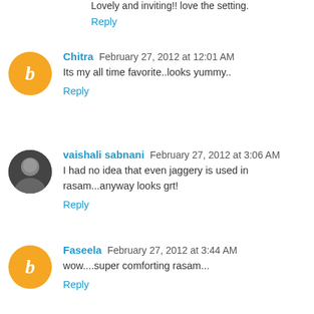Lovely and inviting!! love the setting.
Reply
Chitra February 27, 2012 at 12:01 AM
Its my all time favorite..looks yummy..
Reply
vaishali sabnani February 27, 2012 at 3:06 AM
I had no idea that even jaggery is used in rasam...anyway looks grt!
Reply
Faseela February 27, 2012 at 3:44 AM
wow....super comforting rasam...
Reply